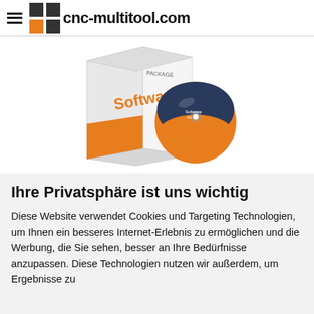cnc-multitool.com
[Figure (illustration): Software package box with CD/DVD disc. Box is white with orange accent and 'Software PACKAGE' text written vertically. Orange and dark disc next to it labeled 'Software Kit'.]
Ihre Privatsphäre ist uns wichtig
Diese Website verwendet Cookies und Targeting Technologien, um Ihnen ein besseres Internet-Erlebnis zu ermöglichen und die Werbung, die Sie sehen, besser an Ihre Bedürfnisse anzupassen. Diese Technologien nutzen wir außerdem, um Ergebnisse zu